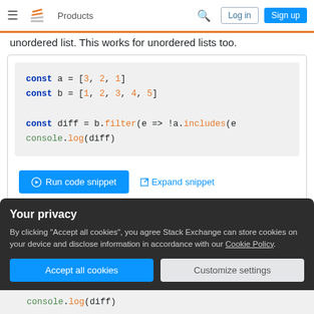≡  [Stack Overflow logo]  Products  🔍  Log in  Sign up
unordered list. This works for unordered lists too.
[Figure (screenshot): Code snippet box showing JavaScript code with const a = [3, 2, 1], const b = [1, 2, 3, 4, 5], const diff = b.filter(e => !a.includes(e), console.log(diff). Has 'Run code snippet' and 'Expand snippet' buttons.]
Your privacy
By clicking "Accept all cookies", you agree Stack Exchange can store cookies on your device and disclose information in accordance with our Cookie Policy.
console.log(diff)